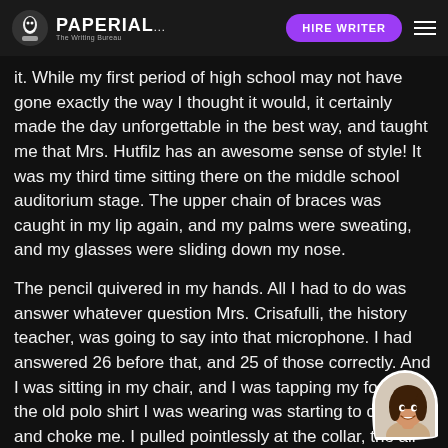PAPERIAL... HIRE WRITER
it. While my first period of high school may not have gone exactly the way I thought it would, it certainly made the day unforgettable in the best way, and taught me that Mrs. Hutfilz has an awesome sense of style! It was my third time sitting there on the middle school auditorium stage. The upper chain of braces was caught in my lip again, and my palms were sweating, and my glasses were sliding down my nose.
The pencil quivered in my hands. All I had to do was answer whatever question Mrs. Crisafulli, the history teacher, was going to say into that microphone. I had answered 26 before that, and 25 of those correctly. And I was sitting in my chair, and I was tapping my foot, and the old polo shirt I was wearing was starting to constrict and choke me. I pulled pointlessly at the collar, the air was still on the outside, only looking the inside of my throat.
[Figure (photo): A circular avatar image of a smiling woman with long dark hair, displayed in a speech-bubble shaped container in the bottom-right corner.]